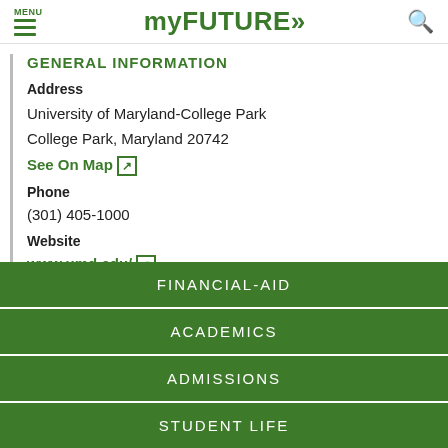MENU myFUTURE»
GENERAL INFORMATION
Address
University of Maryland-College Park
College Park, Maryland 20742
See On Map [external link]
Phone
(301) 405-1000
Website
www.umd.edu/ [external link]
FINANCIAL-AID
ACADEMICS
ADMISSIONS
STUDENT LIFE